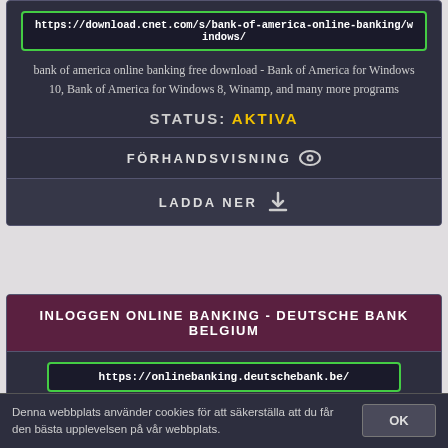https://download.cnet.com/s/bank-of-america-online-banking/windows/
bank of america online banking free download - Bank of America for Windows 10, Bank of America for Windows 8, Winamp, and many more programs
STATUS: AKTIVA
FÖRHANDSVISNING
LADDA NER
INLOGGEN ONLINE BANKING - DEUTSCHE BANK BELGIUM
https://onlinebanking.deutschebank.be/
Log in op Online Banking en krijg gratis toegang tot uw online bankdiensten,
Denna webbplats använder cookies för att säkerställa att du får den bästa upplevelsen på vår webbplats.